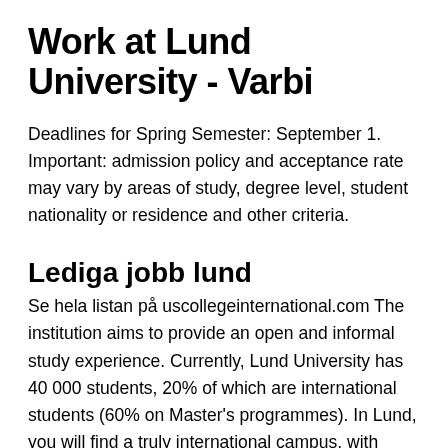Work at Lund University - Varbi
Deadlines for Spring Semester: September 1. Important: admission policy and acceptance rate may vary by areas of study, degree level, student nationality or residence and other criteria.
Lediga jobb lund
Se hela listan på uscollegeinternational.com The institution aims to provide an open and informal study experience. Currently, Lund University has 40 000 students, 20% of which are international students (60% on Master's programmes). In Lund, you will find a truly international campus, with